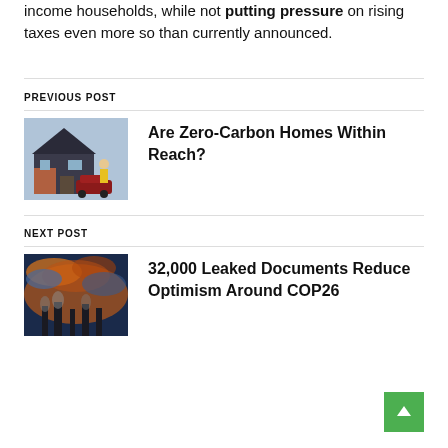income households, while not putting pressure on rising taxes even more so than currently announced.
PREVIOUS POST
[Figure (photo): A construction worker in high-vis vest standing in front of a dark-coloured modern house with a car parked outside]
Are Zero-Carbon Homes Within Reach?
NEXT POST
[Figure (photo): Industrial smokestacks emitting smoke against a dramatic orange and blue cloudy sky]
32,000 Leaked Documents Reduce Optimism Around COP26